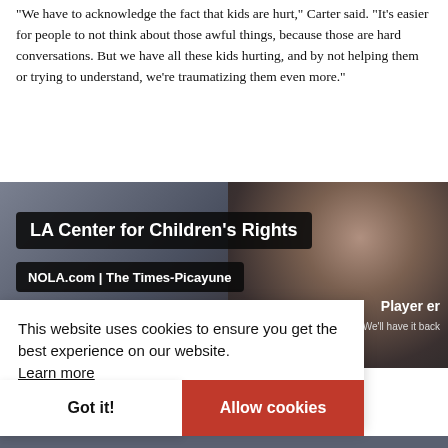“We have to acknowledge the fact that kids are hurt,” Carter said. “It’s easier for people to not think about those awful things, because those are hard conversations. But we have all these kids hurting, and by not helping them or trying to understand, we’re traumatizing them even more.”
[Figure (screenshot): Screenshot of a web video player showing 'LA Center for Children’s Rights' title overlay and 'NOLA.com | The Times-Picayune' source label, with a blurred face in the background]
This website uses cookies to ensure you get the best experience on our website. Learn more
Got it!
Allow cookies
Player er... We’ll have it back